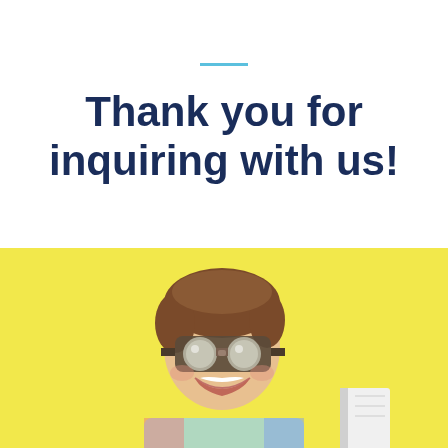Thank you for inquiring with us!
[Figure (photo): Young person with brown hair wearing steampunk-style goggles, laughing/excited expression, colorful jacket, holding what appears to be a book, against a bright yellow background]